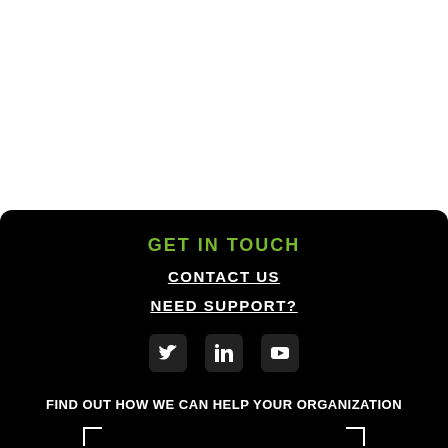GET IN TOUCH
CONTACT US
NEED SUPPORT?
[Figure (infographic): Social media icons: Twitter, LinkedIn, YouTube on dark background]
FIND OUT HOW WE CAN HELP YOUR ORGANIZATION
[Figure (infographic): Bracket corners framing a logo/button area with partial golden A-shape logo and text 'Find us on']